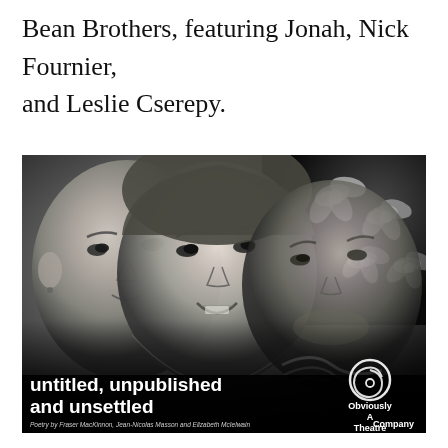Bean Brothers, featuring Jonah, Nick Fournier, and Leslie Cserepy.
[Figure (photo): Black and white photograph of three people (two men and a woman) with their faces overlapping/close together. The woman is in the center, smiling. A floral pattern is visible in the top-right background. The bottom of the image shows text: 'untitled, unpublished and unsettled' with subtitle 'Poetry by Fraser MacKinnon, Jean-Nicolas Masson and Elizabeth McIelwain' and the 'Obviously A Theatre Company' logo with a spiral graphic.]